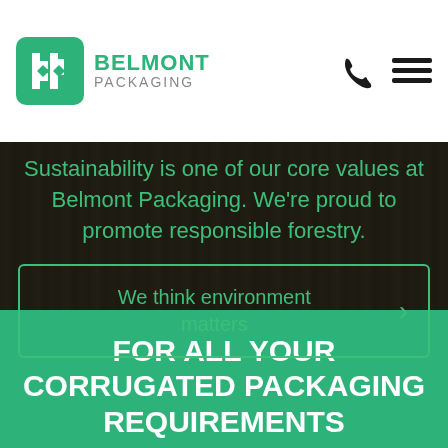[Figure (logo): Belmont Packaging logo with green square icon containing stylized 'bp' letters and company name]
Sustainability is one of our core values at Belmont Packaging. We're proud to promote responsible forestry.
We think environment matters
FOR ALL YOUR CORRUGATED PACKAGING REQUIREMENTS